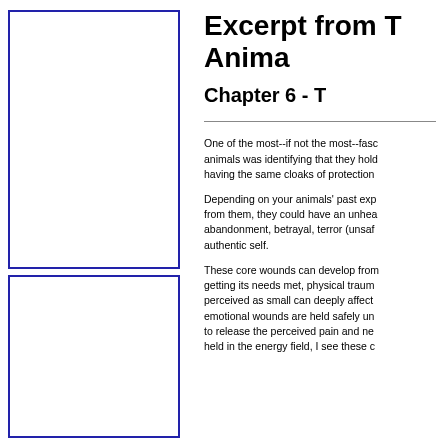[Figure (other): Two blue-bordered white rectangles stacked vertically in the left column, likely placeholder image boxes.]
Excerpt from [T]... Anima...
Chapter 6 - T...
One of the most--if not the most--fasc... animals was identifying that they hold... having the same cloaks of protection...
Depending on your animals' past exp... from them, they could have an unhea... abandonment, betrayal, terror (unsaf... authentic self.
These core wounds can develop from... getting its needs met, physical traum... perceived as small can deeply affect... emotional wounds are held safely un... to release the perceived pain and ne... held in the energy field, I see these c...